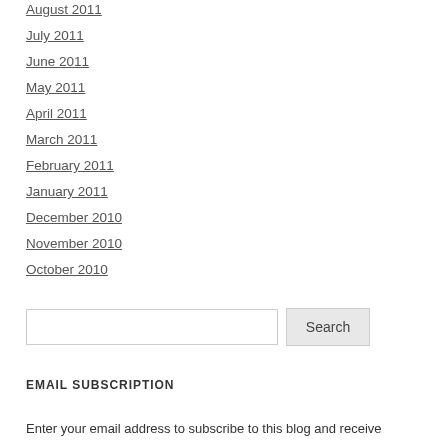August 2011
July 2011
June 2011
May 2011
April 2011
March 2011
February 2011
January 2011
December 2010
November 2010
October 2010
EMAIL SUBSCRIPTION
Enter your email address to subscribe to this blog and receive